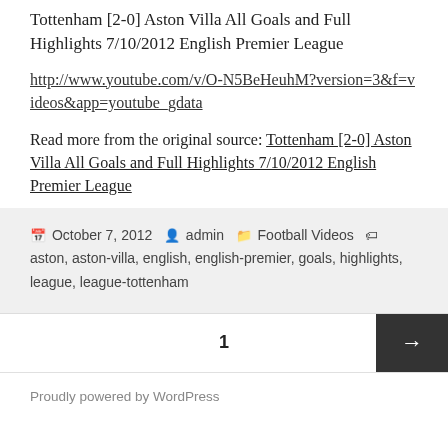Tottenham [2-0] Aston Villa All Goals and Full Highlights 7/10/2012 English Premier League
http://www.youtube.com/v/O-N5BeHeuhM?version=3&f=videos&app=youtube_gdata
Read more from the original source: Tottenham [2-0] Aston Villa All Goals and Full Highlights 7/10/2012 English Premier League
October 7, 2012  admin  Football Videos  aston, aston-villa, english, english-premier, goals, highlights, league, league-tottenham
1
Proudly powered by WordPress